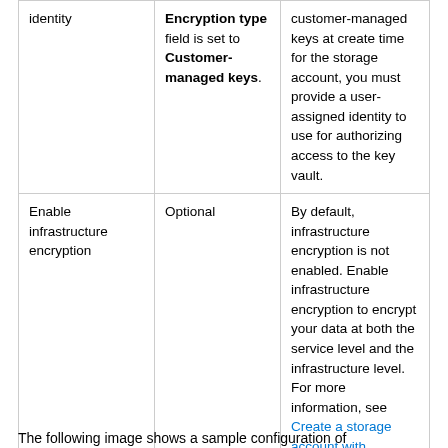| identity | Encryption type field is set to Customer-managed keys. | customer-managed keys at create time for the storage account, you must provide a user-assigned identity to use for authorizing access to the key vault. |
| Enable infrastructure encryption | Optional | By default, infrastructure encryption is not enabled. Enable infrastructure encryption to encrypt your data at both the service level and the infrastructure level. For more information, see Create a storage account with infrastructure encryption enabled for double encryption of data. |
The following image shows a sample configuration of